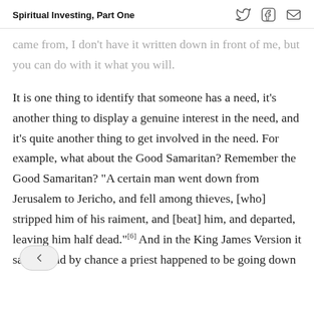Spiritual Investing, Part One
came from, I don't have it written down in front of me, but you can do with it what you will.
It is one thing to identify that someone has a need, it's another thing to display a genuine interest in the need, and it's quite another thing to get involved in the need. For example, what about the Good Samaritan? Remember the Good Samaritan? “A certain man went down from Jerusalem to Jericho, and fell among thieves, [who] stripped him of his raiment, and [beat] him, and departed, leaving him half dead.”[6] And in the King James Version it says, “And by chance a priest happened to be going down